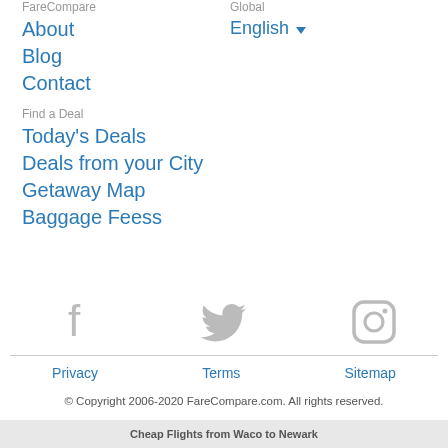FareCompare
About
Blog
Contact
Global
English
Find a Deal
Today's Deals
Deals from your City
Getaway Map
Baggage Feess
[Figure (illustration): Social media icons: Facebook, Twitter, Instagram]
Privacy   Terms   Sitemap
© Copyright 2006-2020 FareCompare.com. All rights reserved.
Cheap Flights from Waco to Newark